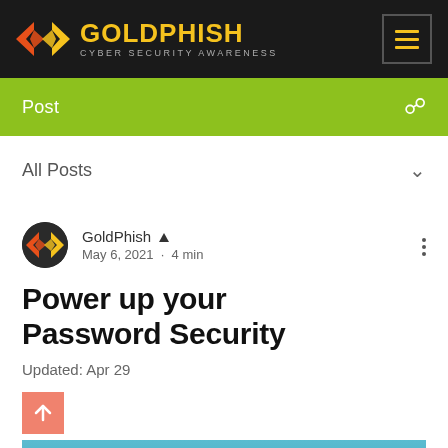[Figure (logo): GoldPhish Cyber Security Awareness logo with orange/yellow geometric icon and hamburger menu button on dark background]
Post
All Posts
GoldPhish ▲
May 6, 2021 · 4 min
Power up your Password Security
Updated: Apr 29
[Figure (photo): Partial preview of a cyber security awareness blog post image with 'AWARE' watermark text on a blue background]